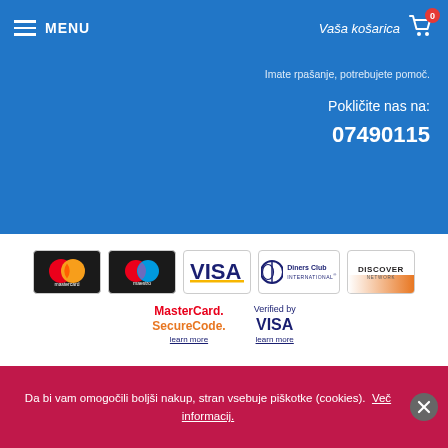MENU  Vaša košarica 0
Imate rpašanje, potrebujete pomoč.
Pokličite nas na:
07490115
[Figure (logo): Payment method logos: Mastercard, Maestro, Visa, Diners Club International, Discover]
[Figure (logo): MasterCard SecureCode learn more and Verified by VISA learn more security badges]
© 2020 - 2022 Audio Pro d.o.o.    Developed by LABNET.RS
[Figure (logo): PayPal logo partial]
Da bi vam omogočili boljši nakup, stran vsebuje piškotke (cookies).  Več informacij.